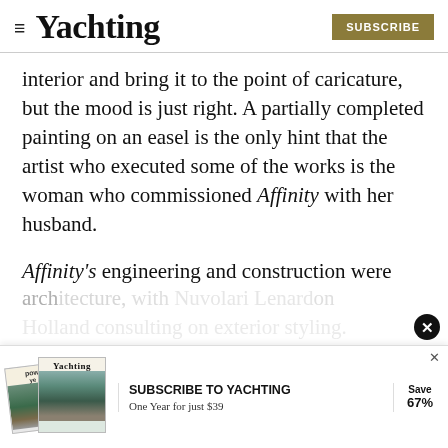Yachting | SUBSCRIBE
interior and bring it to the point of caricature, but the mood is just right. A partially completed painting on an easel is the only hint that the artist who executed some of the works is the woman who commissioned Affinity with her husband.
Affinity's engineering and construction were equally impressive, completed to as high a standard as I've ever seen on a yacht. Delta Marine handled the naval arch... on Holland consulting on exterior styling.
[Figure (other): Subscription advertisement banner for Yachting magazine: 'SUBSCRIBE TO YACHTING — One Year for just $39 — Save 67%' with magazine cover images.]